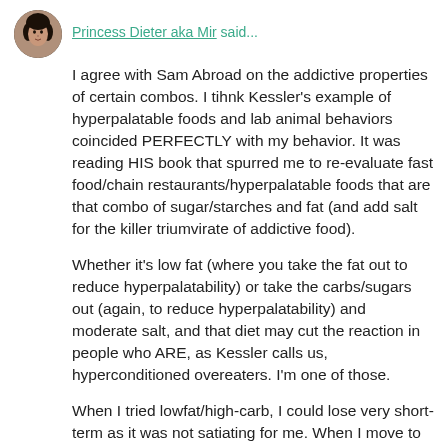Princess Dieter aka Mir said...
I agree with Sam Abroad on the addictive properties of certain combos. I tihnk Kessler's example of hyperpalatable foods and lab animal behaviors coincided PERFECTLY with my behavior. It was reading HIS book that spurred me to re-evaluate fast food/chain restaurants/hyperpalatable foods that are that combo of sugar/starches and fat (and add salt for the killer triumvirate of addictive food).
Whether it's low fat (where you take the fat out to reduce hyperpalatability) or take the carbs/sugars out (again, to reduce hyperpalatability) and moderate salt, and that diet may cut the reaction in people who ARE, as Kessler calls us, hyperconditioned overeaters. I'm one of those.
When I tried lowfat/high-carb, I could lose very short-term as it was not satiating for me. When I move to higher protein, higher fat, lower carb, I found that groove where I was satiated and could eat less. I don't heat high fat at la Jimmy M. I still watch my teaspoons and tablespoons